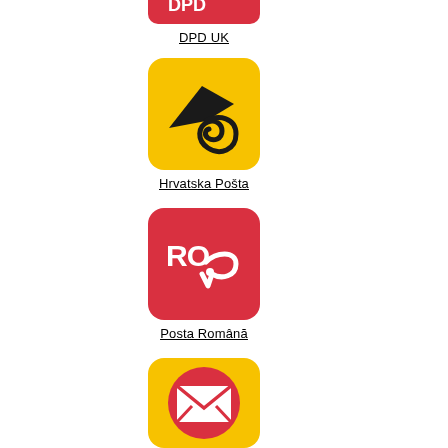[Figure (logo): DPD UK logo — red rounded square with white DPD mark]
DPD UK
[Figure (logo): Hrvatska Pošta logo — yellow rounded square with black post horn swirl]
Hrvatska Pošta
[Figure (logo): Posta Română logo — red rounded square with white RO post horn mark]
Posta Română
[Figure (logo): Yellow rounded square with red circle envelope mail icon]